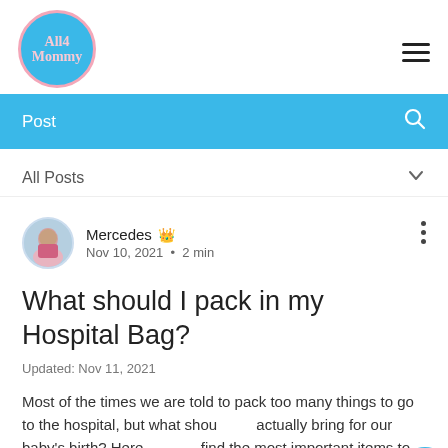All4Mommy logo and hamburger menu
Post
All Posts
Mercedes  Nov 10, 2021 • 2 min
What should I pack in my Hospital Bag?
Updated: Nov 11, 2021
Most of the times we are told to pack too many things to go to the hospital, but what should we actually bring for our baby's birth? Here you will find the most important items to pack in your